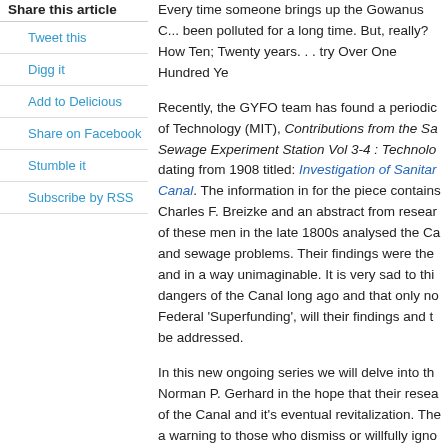Share this article
Tweet this
Digg it
Add to Delicious
Share on Facebook
Stumble it
Subscribe by RSS
Every time someone brings up the Gowanus C... been polluted for a long time. But, really? How Ten; Twenty years. . . try Over One Hundred Ye
Recently, the GYFO team has found a periodic of Technology (MIT), Contributions from the Sa Sewage Experiment Station Vol 3-4 : Technolo dating from 1908 titled: Investigation of Sanitar Canal. The information in for the piece contains Charles F. Breizke and an abstract from resear of these men in the late 1800s analysed the Ca and sewage problems. Their findings were the and in a way unimaginable. It is very sad to thi dangers of the Canal long ago and that only no Federal 'Superfunding', will their findings and t be addressed.
In this new ongoing series we will delve into th Norman P. Gerhard in the hope that their resea of the Canal and it's eventual revitalization. The a warning to those who dismiss or willfully igno resources.
To start let's briefly look at what Charles F. Brei